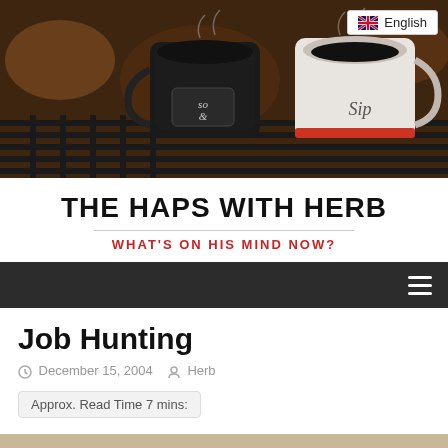[Figure (photo): Two coffee mugs on a dark metal grill, one black mug and one white mug labeled 'Sip', outdoors with autumn leaves in background]
THE HAPS WITH HERB
WHAT'S ON HIS MIND NOW?
Job Hunting
December 15, 2004  Herb
Approx. Read Time 7 mins:
Since so many people I know are looking for work and some for their first real job, I have decided to put down a few of the